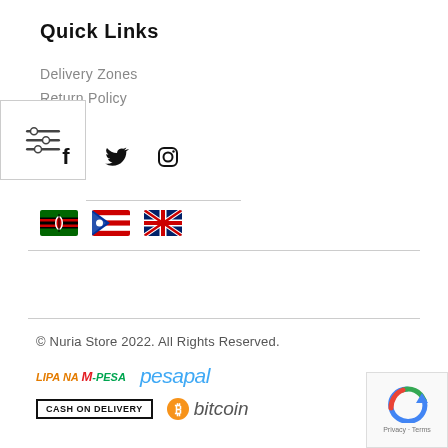Quick Links
Delivery Zones
Return Policy
[Figure (infographic): Filter/settings icon with three horizontal sliders, shown in a white box with border]
[Figure (infographic): Social media icons: Facebook (f), Twitter (bird), Instagram (camera circle)]
[Figure (infographic): Three country flags: Kenya, Puerto Rico, United Kingdom]
© Nuria Store 2022. All Rights Reserved.
[Figure (logo): Payment method logos: Lipa Na M-PESA, pesapal, CASH ON DELIVERY, Bitcoin]
[Figure (infographic): Google reCAPTCHA badge with Privacy and Terms links]